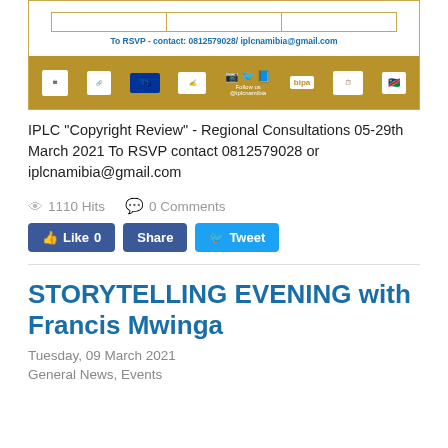[Figure (other): Banner image for IPLC event with logos of UNESCO, EU, BIPA and other organizations. Bottom gold bar includes social media icons and Follow us @iplcnamibia. Top shows RSVP contact info: To RSVP - contact: 0812579028/ iplcnamibia@gmail.com]
IPLC "Copyright Review" - Regional Consultations 05-29th March 2021 To RSVP contact 0812579028 or iplcnamibia@gmail.com
1110 Hits   0 Comments
Like 0   Share   Tweet
STORYTELLING EVENING with Francis Mwinga
Tuesday, 09 March 2021
General News, Events